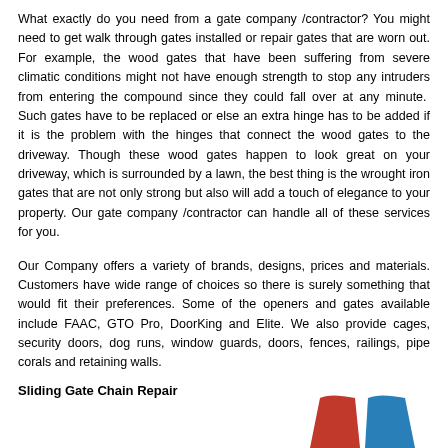What exactly do you need from a gate company /contractor? You might need to get walk through gates installed or repair gates that are worn out. For example, the wood gates that have been suffering from severe climatic conditions might not have enough strength to stop any intruders from entering the compound since they could fall over at any minute.  Such gates have to be replaced or else an extra hinge has to be added if it is the problem with the hinges that connect the wood gates to the driveway. Though these wood gates happen to look great on your driveway, which is surrounded by a lawn, the best thing is the wrought iron gates that are not only strong but also will add a touch of elegance to your property. Our gate company /contractor can handle all of these services for you.
Our Company offers a variety of brands, designs, prices and materials. Customers have wide range of choices so there is surely something that would fit their preferences. Some of the openers and gates available include FAAC, GTO Pro, DoorKing and Elite. We also provide cages, security doors, dog runs, window guards, doors, fences, railings, pipe corals and retaining walls.
Sliding Gate Chain Repair
[Figure (logo): Partial logo with red and blue shapes visible at bottom right corner of the page]